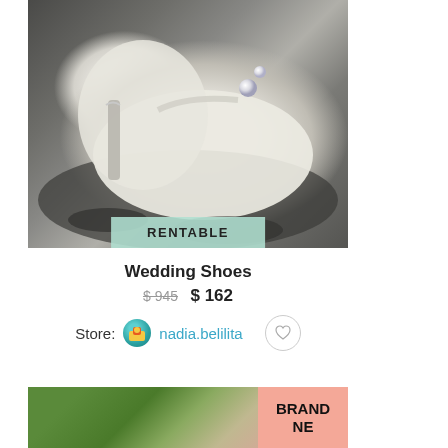[Figure (photo): Close-up photo of white bridal high-heel shoes with pearl embellishments on a dark decorative surface. A teal/mint 'RENTABLE' badge overlays the bottom center of the image.]
RENTABLE
Wedding Shoes
$ 945  $ 162
Store:  nadia.belilita
[Figure (photo): Partial view of a second product image showing green grass background and a pink 'BRAND NEW' badge in the corner.]
BRAND NEW